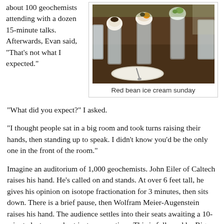about 100 geochemists attending with a dozen 15-minute talks. Afterwards, Evan said, "That's not what I expected."
[Figure (photo): Photo of red bean ice cream sundaes in tall glasses on a wooden table]
Red bean ice cream sunday
“What did you expect?” I asked.
“I thought people sat in a big room and took turns raising their hands, then standing up to speak. I didn’t know you’d be the only one in the front of the room.”
Imagine an auditorium of 1,000 geochemists. John Eiler of Caltech raises his hand. He’s called on and stands. At over 6 feet tall, he gives his opinion on isotope fractionation for 3 minutes, then sits down. There is a brief pause, then Wolfram Meier-Augenstein raises his hand. The audience settles into their seats awaiting a 10-minute lecture on best isotope practices. This is followed by Big John Hayes’ booming voice—“John Hayes,